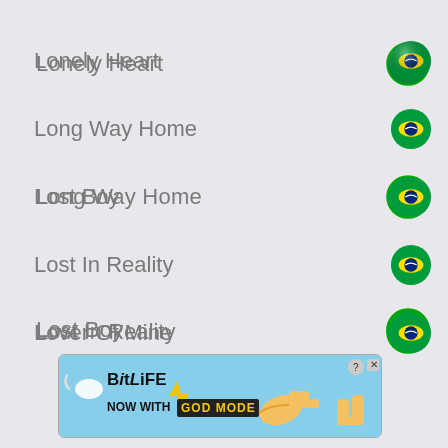Lonely Heart
Long Way Home
Lost Boy
Lost In Reality
Lover Of Mine
[Figure (infographic): BitLife advertisement banner: 'NOW WITH GOD MODE']